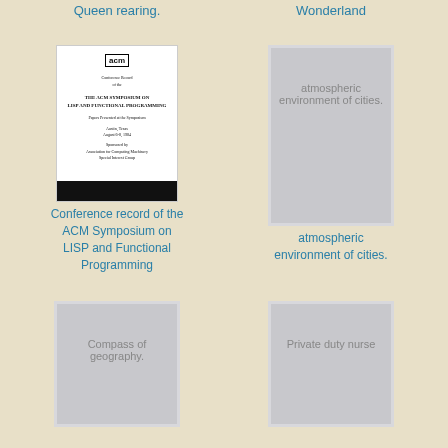Queen rearing.
Wonderland
[Figure (illustration): Thumbnail of ACM Conference Record document cover with ACM logo and text about LISP and Functional Programming symposium]
[Figure (illustration): Gray placeholder book cover showing text: atmospheric environment of cities.]
Conference record of the ACM Symposium on LISP and Functional Programming
atmospheric environment of cities.
[Figure (illustration): Gray placeholder book cover showing text: Compass of geography.]
[Figure (illustration): Gray placeholder book cover showing text: Private duty nurse]